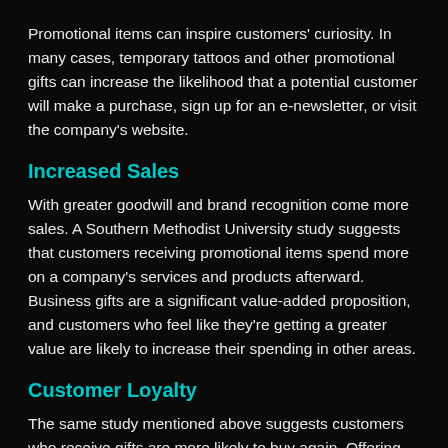Promotional items can inspire customers' curiosity. In many cases, temporary tattoos and other promotional gifts can increase the likelihood that a potential customer will make a purchase, sign up for an e-newsletter, or visit the company's website.
Increased Sales
With greater goodwill and brand recognition come more sales. A Southern Methodist University study suggests that customers receiving promotional items spend more on a company's services and products afterward. Business gifts are a significant value-added proposition, and customers who feel like they're getting a greater value are likely to increase their spending in other areas.
Customer Loyalty
The same study mentioned above suggests customers who receive gifts are more likely to buy again. Offering